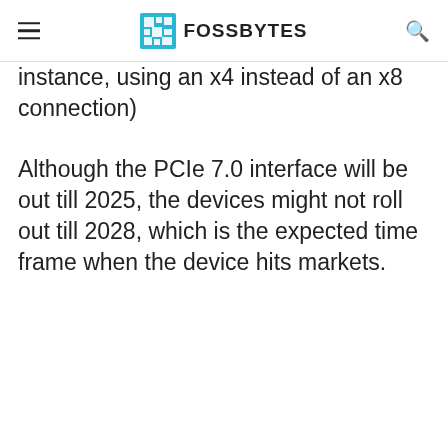FOSSBYTES
instance, using an x4 instead of an x8 connection)
Although the PCIe 7.0 interface will be out till 2025, the devices might not roll out till 2028, which is the expected time frame when the device hits markets.